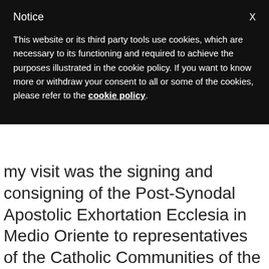Notice  X
This website or its third party tools use cookies, which are necessary to its functioning and required to achieve the purposes illustrated in the cookie policy. If you want to know more or withdraw your consent to all or some of the cookies, please refer to the cookie policy.
my visit was the signing and consigning of the Post-Synodal Apostolic Exhortation Ecclesia in Medio Oriente to representatives of the Catholic Communities of the Middle East as well as the other Churches and ecclesial communities, and also to Muslim leaders.
It was a moving ecclesial event and, at the same time, a provident occasion for dialogue in a country that is complex but emblematic for the entire region, thanks to its tradition of coexistence and of fruitful cooperation between the different religious and social elements